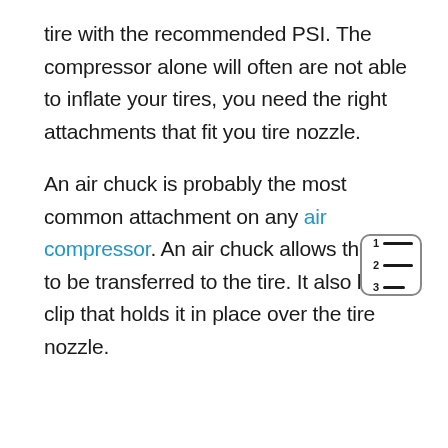tire with the recommended PSI. The compressor alone will often are not able to inflate your tires, you need the right attachments that fit you tire nozzle.
An air chuck is probably the most common attachment on any air compressor. An air chuck allows the air to be transferred to the tire. It also has a clip that holds it in place over the tire nozzle.
[Figure (other): Table of contents icon with numbered rows (1, 2, 3) and horizontal lines, enclosed in a rounded rectangle border]